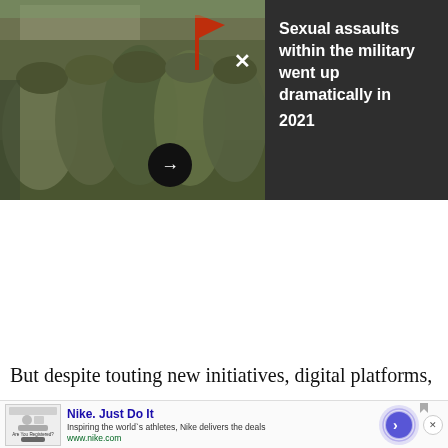[Figure (photo): Photograph of military personnel in camouflage uniforms gathered in a group outdoors, with a building and flag visible in background. Dark overlay panel on right side contains headline text. A white X close button is visible on the photo, and a black circular arrow button is at the bottom center.]
Sexual assaults within the military went up dramatically in 2021
But despite touting new initiatives, digital platforms,
[Figure (screenshot): Advertisement banner for Nike. Shows thumbnail image on left, Nike. Just Do It headline in blue bold text, tagline 'Inspiring the world's athletes, Nike delivers the deals', URL www.nike.com in green, purple circular arrow button, concentric ring graphic, and X close button.]